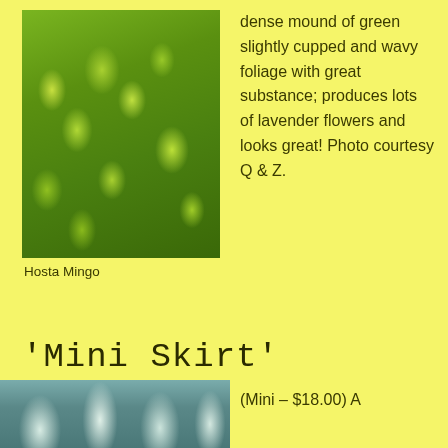[Figure (photo): Hosta Mingo plant showing dense mound of green slightly cupped and wavy foliage with lavender flowers]
Hosta Mingo
dense mound of green slightly cupped and wavy foliage with great substance; produces lots of lavender flowers and looks great! Photo courtesy Q & Z.
'Mini Skirt'
[Figure (photo): Close-up photo of Mini Skirt hosta plant with blue-green foliage]
(Mini – $18.00) A